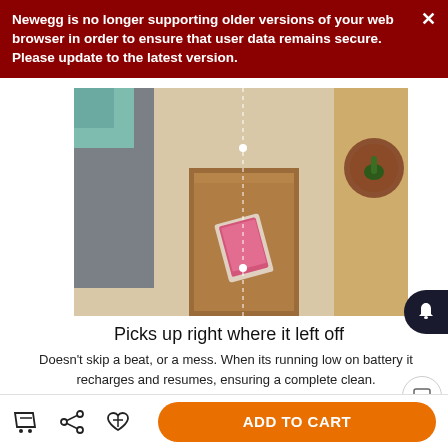Newegg is no longer supporting older versions of your web browser in order to ensure that user data remains secure. Please update to the latest version.
[Figure (photo): Top-down view of a living room with a wooden side table, a phone on it, a gray couch, and a rug visible on the floor]
Picks up right where it left off
Doesn't skip a beat, or a mess. When its running low on battery it recharges and resumes, ensuring a complete clean.
[Figure (photo): Bottom portion showing feet on a gray couch with a decorative rug]